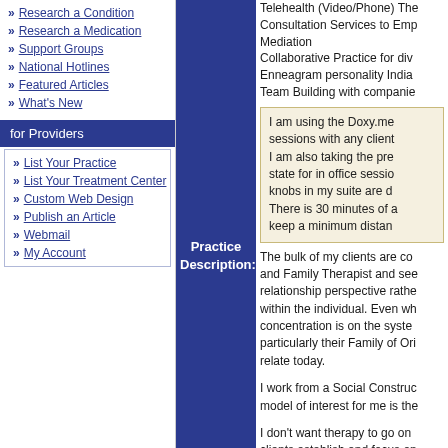Research a Condition
Research a Medication
Support Groups
National Hotlines
Featured Articles
What's New
for Providers
List Your Practice
List Your Treatment Center
Custom Web Design
Publish an Article
Webmail
My Account
Telehealth (Video/Phone) The...
Consultation Services to Emp...
Mediation
Collaborative Practice for div...
Enneagram personality India...
Team Building with companie...
Practice Description:
I am using the Doxy.me... sessions with any client... I am also taking the pre... state for in office sessio... knobs in my suite are d... There is 30 minutes of a... keep a minimum distan...
The bulk of my clients are co... and Family Therapist and see... relationship perspective rathe... within the individual. Even wh... concentration is on the syste... particularly their Family of Ori... relate today.
I work from a Social Construc... model of interest for me is the...
I don't want therapy to go on... clients establish and focus on... way of living. I see my 'exper... create the space for clients...